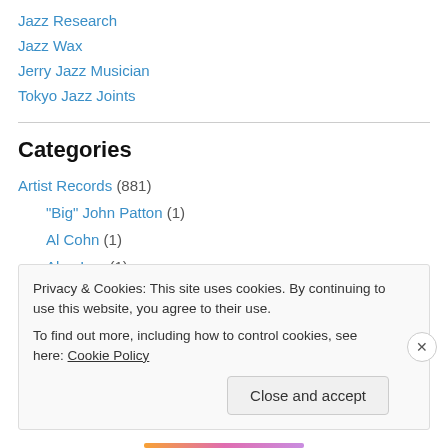Jazz Research
Jazz Wax
Jerry Jazz Musician
Tokyo Jazz Joints
Categories
Artist Records (881)
"Big" John Patton (1)
Al Cohn (1)
Alan Lee (1)
Alan Skidmore (1)
Privacy & Cookies: This site uses cookies. By continuing to use this website, you agree to their use.
To find out more, including how to control cookies, see here: Cookie Policy